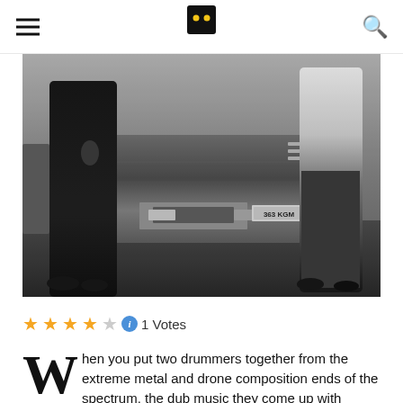M (logo) — hamburger menu and search icon
[Figure (photo): Black and white photograph showing two people standing near a truck/vehicle outdoors. One person on the left wears dark clothing, the other on the right wears a light top with dark pants. A license plate reading '363 KGM' is partially visible on the truck.]
★★★★☆ ⓘ 1 Votes
When you put two drummers together from the extreme metal and drone composition ends of the spectrum, the dub music they come up with